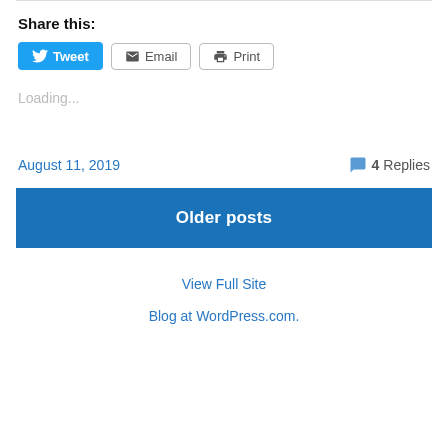Share this:
[Figure (other): Share buttons: Tweet (blue Twitter button), Email (outline button), Print (outline button)]
Loading...
August 11, 2019   4 Replies
Older posts
View Full Site
Blog at WordPress.com.